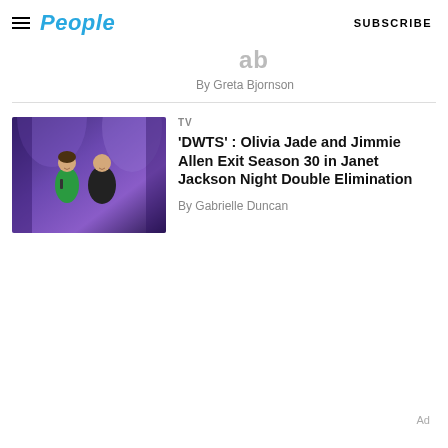People | SUBSCRIBE
By Greta Bjornson
TV
'DWTS' : Olivia Jade and Jimmie Allen Exit Season 30 in Janet Jackson Night Double Elimination
By Gabrielle Duncan
[Figure (photo): Two people on stage with purple/blue lighting, a woman in green dress and a man in dark shirt, smiling]
Ad